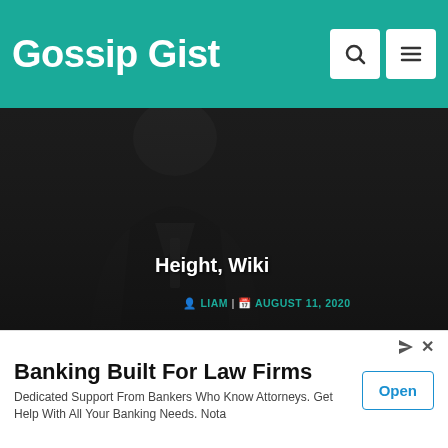Gossip Gist
[Figure (photo): Dark photo of a man in a jacket, article thumbnail with title overlay 'Height, Wiki' and author/date metadata]
Height, Wiki
LIAM | AUGUST 11, 2020
[Figure (screenshot): Taboola Feed widget header]
[Figure (photo): Dental office photo: young woman smiling in dentist chair with dental professional in background]
Banking Built For Law Firms
Dedicated Support From Bankers Who Know Attorneys. Get Help With All Your Banking Needs. Nota
Open